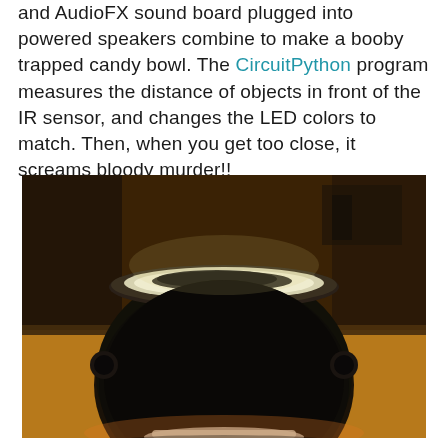and AudioFX sound board plugged into powered speakers combine to make a booby trapped candy bowl. The CircuitPython program measures the distance of objects in front of the IR sensor, and changes the LED colors to match. Then, when you get too close, it screams bloody murder!!
[Figure (photo): A black cauldron-shaped candy bowl photographed in dim warm lighting on a table. The cauldron has glowing white/yellow light emanating from inside its opening, with candy visible. The bowl has two round side handles and sits on a white base. The background is dark.]